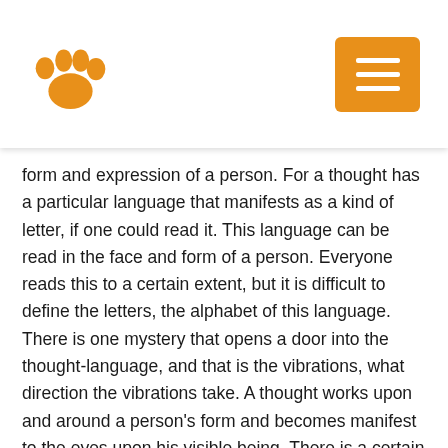[Figure (logo): Orange paw print logo icon in the top left of the header]
[Figure (other): Orange square menu button with three white horizontal lines (hamburger menu) in the top right of the header]
form and expression of a person. For a thought has a particular language that manifests as a kind of letter, if one could read it. This language can be read in the face and form of a person. Everyone reads this to a certain extent, but it is difficult to define the letters, the alphabet of this language. There is one mystery that opens a door into the thought-language, and that is the vibrations, what direction the vibrations take. A thought works upon and around a person's form and becomes manifest to the eyes upon his visible being. There is a certain law that governs its work, and that law is the law of direction — whether the forces are going to the right or to the left, upward or downward. It is this direction of the vibrations of thought that produces a picture so that a seer can see this picture as clearly as a